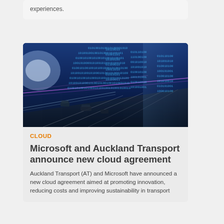experiences.
[Figure (photo): Aerial view of a highway at night with digital binary code overlay on a blue background, representing smart transportation and cloud technology.]
CLOUD
Microsoft and Auckland Transport announce new cloud agreement
Auckland Transport (AT) and Microsoft have announced a new cloud agreement aimed at promoting innovation, reducing costs and improving sustainability in transport